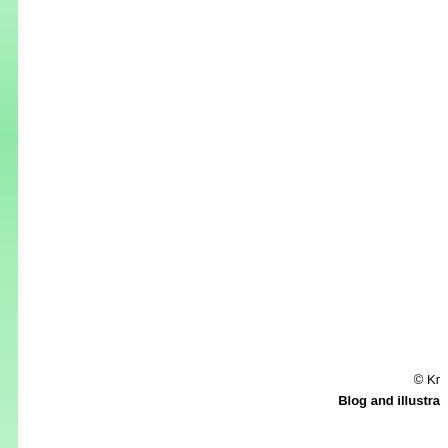[Figure (illustration): Green vertical bar/stripe along the left edge of the page, fading from light green at top to slightly deeper green toward bottom.]
© Kr
Blog and illustra